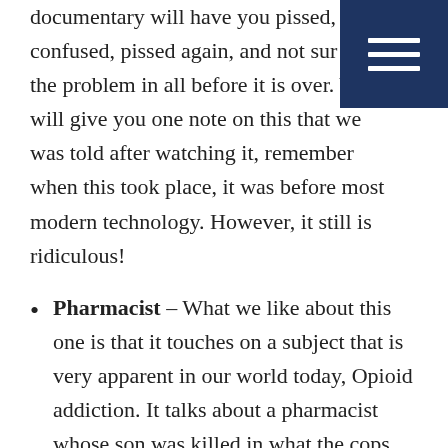documentary will have you pissed, confused, pissed again, and not sure the problem in all before it is over. W will give you one note on this that we was told after watching it, remember when this took place, it was before most modern technology. However, it still is ridiculous!
Pharmacist – What we like about this one is that it touches on a subject that is very apparent in our world today, Opioid addiction. It talks about a pharmacist whose son was killed in what the cops thought was a drug deal gone wrong.